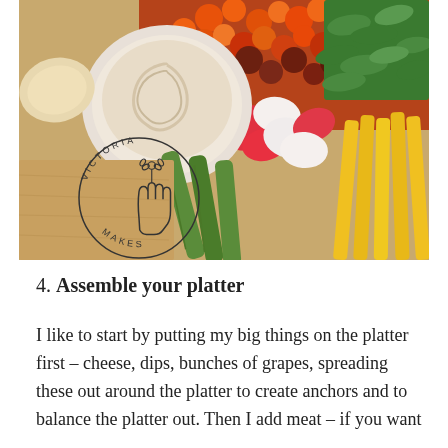[Figure (photo): Overhead view of a wooden charcuterie/crudité platter with colorful vegetables including cherry tomatoes, snap peas, cucumbers, radishes, yellow bell pepper strips, and a bowl of hummus dip. A Victoria Makes logo watermark is visible in the lower left.]
4. Assemble your platter
I like to start by putting my big things on the platter first – cheese, dips, bunches of grapes, spreading these out around the platter to create anchors and to balance the platter out. Then I add meat – if you want